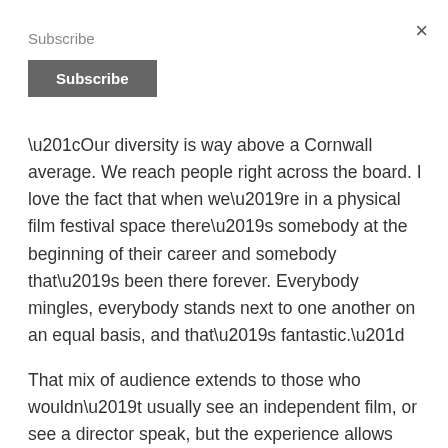Subscribe
“Our diversity is way above a Cornwall average. We reach people right across the board. I love the fact that when we’re in a physical film festival space there’s somebody at the beginning of their career and somebody that’s been there forever. Everybody mingles, everybody stands next to one another on an equal basis, and that’s fantastic.”
That mix of audience extends to those who wouldn’t usually see an independent film, or see a director speak, but the experience allows them to get a sense of how much work is involved in the magic of